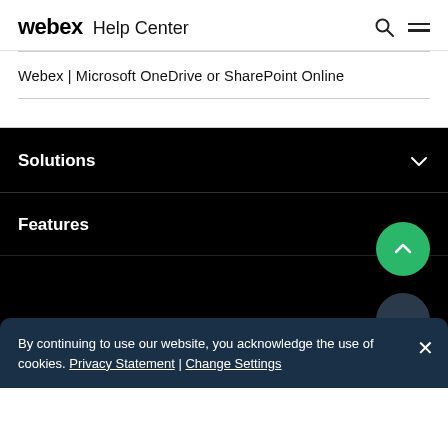webex Help Center
Webex | Microsoft OneDrive or SharePoint Online
Solutions
Features
By continuing to use our website, you acknowledge the use of cookies. Privacy Statement | Change Settings